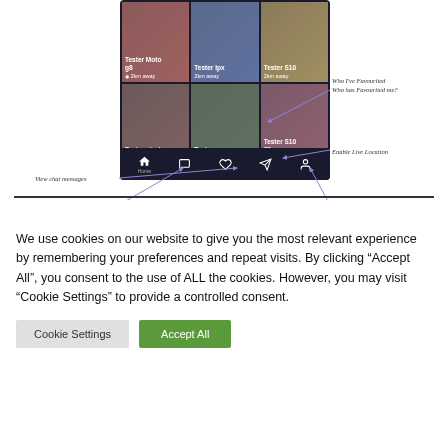[Figure (screenshot): Mobile app screenshot showing a grid of user profile tiles (Tester Moto g8, Tester Ipx, Tester S10, Tester pixel, Tester se, Tester S10) each showing '2km away', with a bottom navigation bar (Home, chat, heart, location, profile icons). Annotation arrows point to: 'Return to main grid page', 'View chat messages', 'Who I've Favourited / Who has Favourited me?', 'Enable Live Location', 'View and edit your profile'.]
We use cookies on our website to give you the most relevant experience by remembering your preferences and repeat visits. By clicking “Accept All”, you consent to the use of ALL the cookies. However, you may visit "Cookie Settings" to provide a controlled consent.